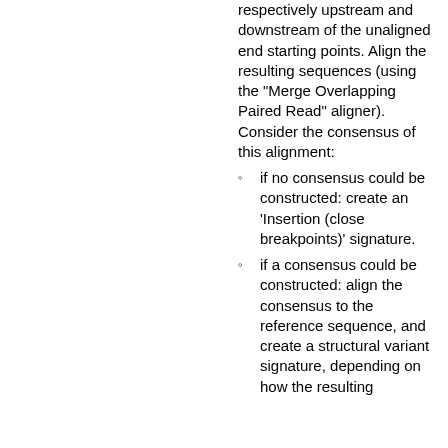respectively upstream and downstream of the unaligned end starting points. Align the resulting sequences (using the "Merge Overlapping Paired Read" aligner). Consider the consensus of this alignment:
if no consensus could be constructed: create an 'Insertion (close breakpoints)' signature.
if a consensus could be constructed: align the consensus to the reference sequence, and create a structural variant signature, depending on how the resulting